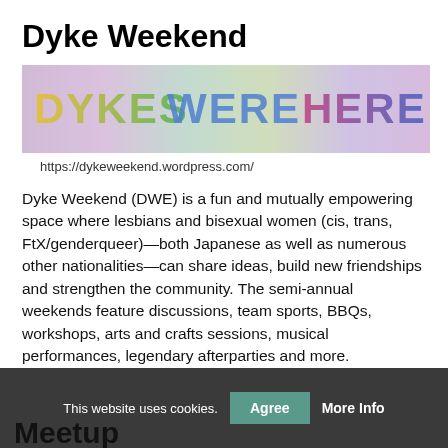Dyke Weekend
[Figure (photo): Banner photo with rainbow-colored text 'DYKES WERE HERE' written in graffiti style on a light background.]
https://dykeweekend.wordpress.com/
Dyke Weekend (DWE) is a fun and mutually empowering space where lesbians and bisexual women (cis, trans, FtX/genderqueer)—both Japanese as well as numerous other nationalities—can share ideas, build new friendships and strengthen the community. The semi-annual weekends feature discussions, team sports, BBQs, workshops, arts and crafts sessions, musical performances, legendary afterparties and more.
- dykeweekend.wordpress.com
This website uses cookies. Agree More Info | Meetup